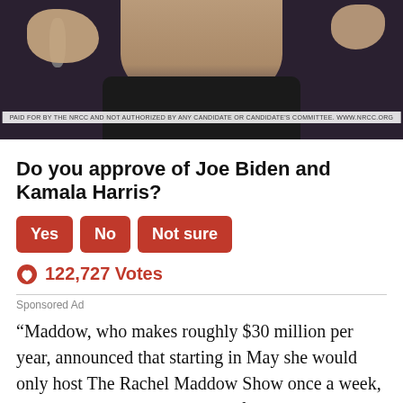[Figure (photo): Photo of a person in a dark jacket speaking into a microphone, with a disclaimer overlay at the bottom reading 'PAID FOR BY THE NRCC AND NOT AUTHORIZED BY ANY CANDIDATE OR CANDIDATE'S COMMITTEE. WWW.NRCC.ORG']
Do you approve of Joe Biden and Kamala Harris?
Yes   No   Not sure
122,727 Votes
Sponsored Ad
“Maddow, who makes roughly $30 million per year, announced that starting in May she would only host The Rachel Maddow Show once a week, on Mondays, so that she could focus on other projects. The coveted 9 p.m. ET timeslot that she’s long occupied now airs MSNBC Prime for the remainder of the week, with a rotating group of